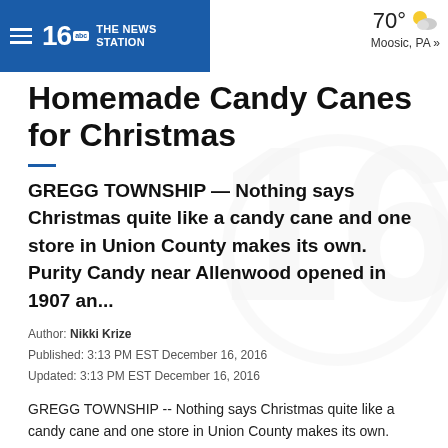WNEP 16 The News Station | 70° Moosic, PA »
Homemade Candy Canes for Christmas
GREGG TOWNSHIP — Nothing says Christmas quite like a candy cane and one store in Union County makes its own. Purity Candy near Allenwood opened in 1907 an...
Author: Nikki Krize
Published: 3:13 PM EST December 16, 2016
Updated: 3:13 PM EST December 16, 2016
GREGG TOWNSHIP -- Nothing says Christmas quite like a candy cane and one store in Union County makes its own.
Purity Candy near Allenwood opened in 1907 and has been making homemade treats ever since.